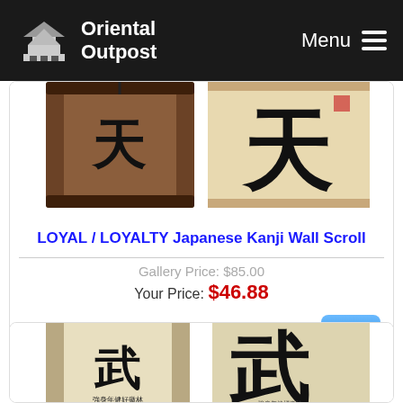Oriental Outpost — Menu
[Figure (photo): LOYAL/LOYALTY Japanese Kanji Wall Scroll product image showing a dark brown scroll on left and the kanji character on beige paper on right]
LOYAL / LOYALTY Japanese Kanji Wall Scroll
Gallery Price: $85.00
Your Price: $46.88
More Info
[Figure (photo): Second product showing a wall scroll with Japanese/Chinese martial arts kanji characters - appears to show 武 (warrior/martial arts) character on scroll and close-up]